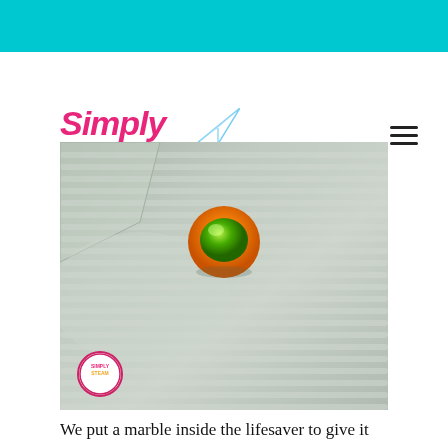Simply STEAM
[Figure (photo): Close-up photo of an orange and green marble (lifesaver candy with marble inside) sitting on a corrugated metal or ice surface, with a Simply STEAM watermark badge in the bottom left corner.]
We put a marble inside the lifesaver to give it some weight. Since there was